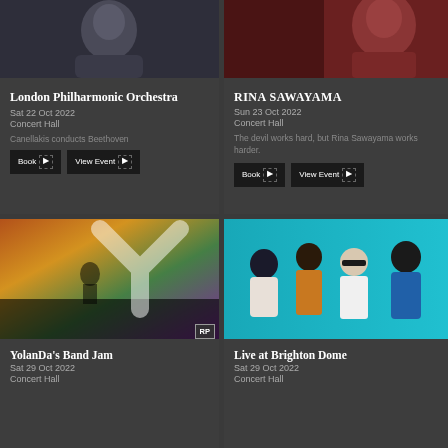[Figure (photo): Portrait photo of a woman with blonde hair against dark blue background - London Philharmonic Orchestra]
London Philharmonic Orchestra
Sat 22 Oct 2022
Concert Hall
Canellakis conducts Beethoven
[Figure (photo): Photo of Rina Sawayama against red background]
RINA SAWAYAMA
Sun 23 Oct 2022
Concert Hall
The devil works hard, but Rina Sawayama works harder.
[Figure (photo): YolanDa's Band Jam performance photo with colorful stage lighting and audience, RP badge]
YolanDa's Band Jam
Sat 29 Oct 2022
Concert Hall
[Figure (photo): Live at Brighton Dome - group photo of four people against teal background]
Live at Brighton Dome
Sat 29 Oct 2022
Concert Hall